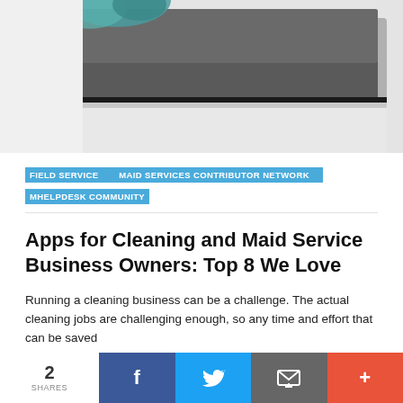[Figure (photo): Partial photo of a laptop or tablet on a desk with a teal plant/decoration in the background]
FIELD SERVICE • MAID SERVICES CONTRIBUTOR NETWORK • MHELPDESK COMMUNITY
Apps for Cleaning and Maid Service Business Owners: Top 8 We Love
Running a cleaning business can be a challenge. The actual cleaning jobs are challenging enough, so any time and effort that can be saved
2 SHARES  [Facebook] [Twitter] [Email] [+]